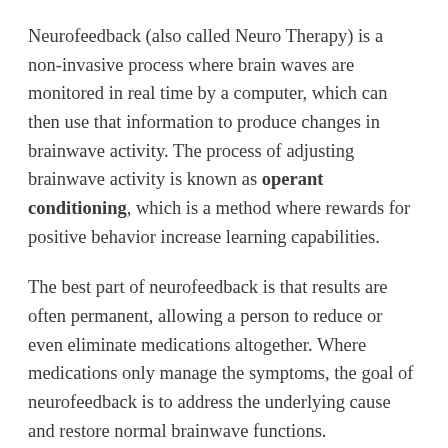Neurofeedback (also called Neuro Therapy) is a non-invasive process where brain waves are monitored in real time by a computer, which can then use that information to produce changes in brainwave activity. The process of adjusting brainwave activity is known as operant conditioning, which is a method where rewards for positive behavior increase learning capabilities.
The best part of neurofeedback is that results are often permanent, allowing a person to reduce or even eliminate medications altogether. Where medications only manage the symptoms, the goal of neurofeedback is to address the underlying cause and restore normal brainwave functions.